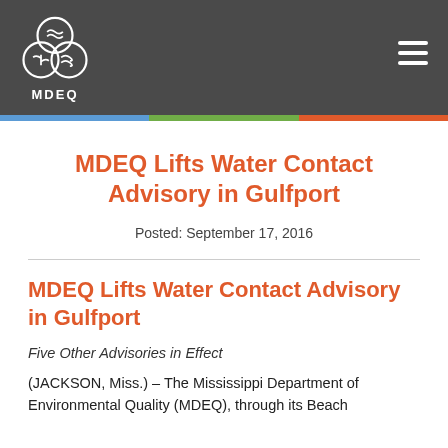[Figure (logo): MDEQ logo with three overlapping circles (water, air, land) and hamburger menu icon in dark gray header bar]
MDEQ Lifts Water Contact Advisory in Gulfport
Posted: September 17, 2016
MDEQ Lifts Water Contact Advisory in Gulfport
Five Other Advisories in Effect
(JACKSON, Miss.) – The Mississippi Department of Environmental Quality (MDEQ), through its Beach